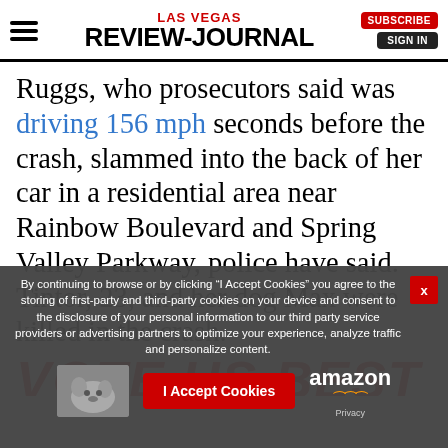LAS VEGAS REVIEW-JOURNAL
Ruggs, who prosecutors said was driving 156 mph seconds before the crash, slammed into the back of her car in a residential area near Rainbow Boulevard and Spring Valley Parkway, police have said. Tintor, 23, and her dog Max were killed in the crash.
[Figure (screenshot): VOTE US BEST red italic bold text banner]
By continuing to browse or by clicking “I Accept Cookies” you agree to the storing of first-party and third-party cookies on your device and consent to the disclosure of your personal information to our third party service providers or advertising partners to optimize your experience, analyze traffic and personalize content.
[Figure (screenshot): I Accept Cookies button and Amazon logo with Privacy text in cookie consent overlay]